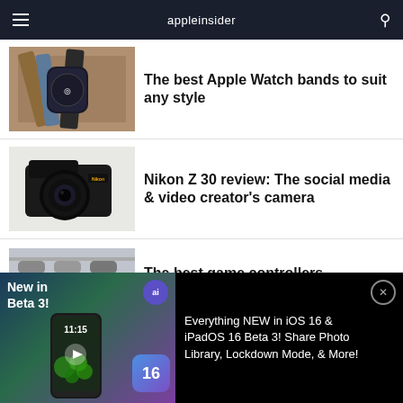appleinsider
The best Apple Watch bands to suit any style
Nikon Z 30 review: The social media & video creator's camera
The best game controllers
[Figure (screenshot): Advertisement banner: Everything NEW in iOS 16 & iPadOS 16 Beta 3! Share Photo Library, Lockdown Mode, & More!]